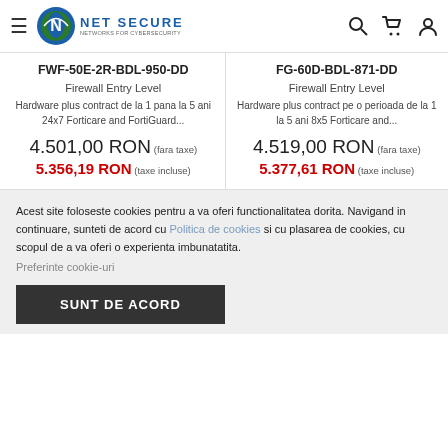Net Secure — navigation header with logo, search, cart, account icons
FWF-50E-2R-BDL-950-DD
Firewall Entry Level
Hardware plus contract de la 1 pana la 5 ani 24x7 Forticare and FortiGuard...
4.501,00 RON (fara taxe)
5.356,19 RON (taxe incluse)
FG-60D-BDL-871-DD
Firewall Entry Level
Hardware plus contract pe o perioada de la 1 la 5 ani 8x5 Forticare and...
4.519,00 RON (fara taxe)
5.377,61 RON (taxe incluse)
Acest site foloseste cookies pentru a va oferi functionalitatea dorita. Navigand in continuare, sunteti de acord cu Politica de cookies si cu plasarea de cookies, cu scopul de a va oferi o experienta imbunatatita.
Preferinte cookie-uri
SUNT DE ACORD